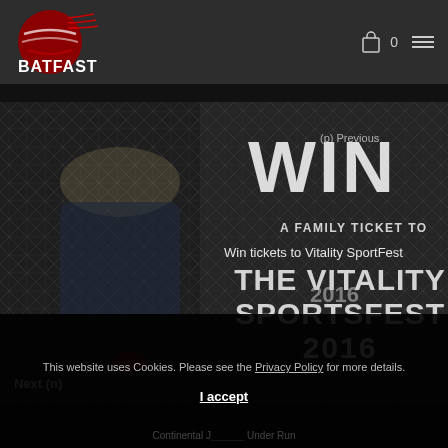[Figure (logo): BATFAST logo - red circular cricket ball design with white BATFAST text on dark header bar]
0 ≡
[Figure (photo): Dark background image showing a young cricketer near a net with text overlay: WIN, A FAMILY TICKET TO, Win tickets to Vitality SportFest, THE VITALITY SPORTSFEST 2016]
WIN
(p) Previous
A FAMILY TICKET TO
Win tickets to Vitality SportFest
THE VITALITY SPORTSFEST 2016
Next (n)
This website uses Cookies. Please see the Privacy Policy for more details.
I accept
Continental J____ Under Run